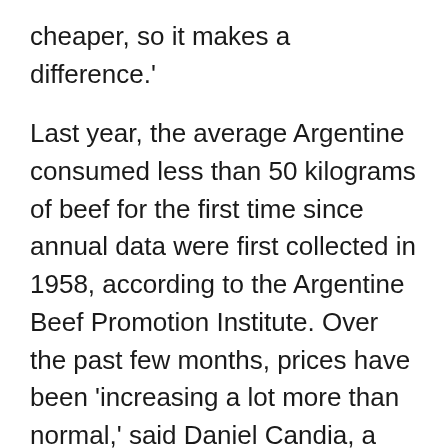cheaper, so it makes a difference.'
Last year, the average Argentine consumed less than 50 kilograms of beef for the first time since annual data were first collected in 1958, according to the Argentine Beef Promotion Institute. Over the past few months, prices have been 'increasing a lot more than normal,' said Daniel Candia, a 36-year-old butcher.
'I've been in this business for 16 years, and this is the first time I've seen anything like this,' he said.
Latin America as a whole is suffering